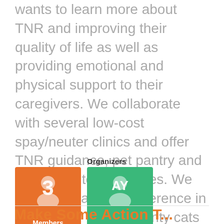wants to learn more about TNR and improving their quality of life as well as providing emotional and physical support to their caregivers. We collaborate with several low-cost spay/neuter clinics and offer TNR guidance, pet pantry and winter shelter resources. We are truly making a difference in the lives of Berks County cats and the people who love them...please join us in our mission to help this often overlooked population in our community.
Organizers
[Figure (infographic): Orange square badge showing number 3 with person silhouette icon and 'Members' label below]
[Figure (infographic): Green square badge showing initials 'AY' with person silhouette icon]
Make Some Action T...